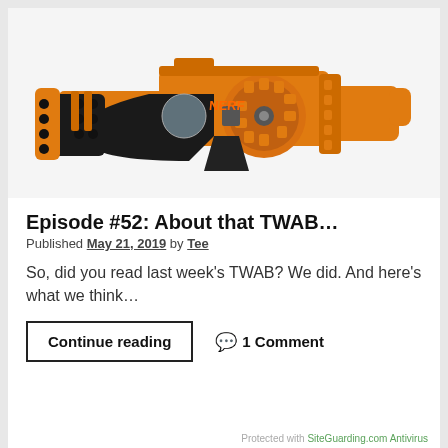[Figure (photo): Orange and black Nerf Lawbringer Doomlands blaster toy gun on white background]
Episode #52: About that TWAB…
Published May 21, 2019 by Tee
So, did you read last week's TWAB? We did. And here's what we think…
Continue reading
💬 1 Comment
Protected with SiteGuarding.com Antivirus